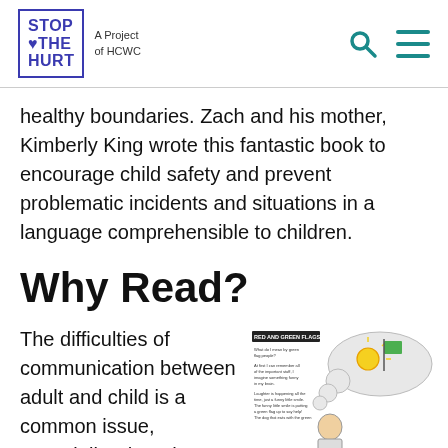STOP THE HURT — A Project of HCWC
healthy boundaries. Zach and his mother, Kimberly King wrote this fantastic book to encourage child safety and prevent problematic incidents and situations in a language comprehensible to children.
Why Read?
The difficulties of communication between adult and child is a common issue, especially when the
[Figure (illustration): Illustration from a children's book showing 'Red and Green Flags' page with a child figure and a thought bubble containing a sun and green flag, with small text describing green flags concept.]